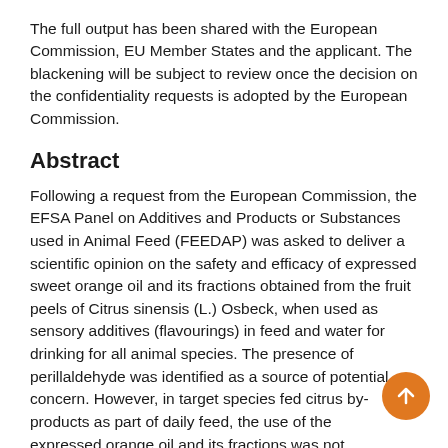The full output has been shared with the European Commission, EU Member States and the applicant. The blackening will be subject to review once the decision on the confidentiality requests is adopted by the European Commission.
Abstract
Following a request from the European Commission, the EFSA Panel on Additives and Products or Substances used in Animal Feed (FEEDAP) was asked to deliver a scientific opinion on the safety and efficacy of expressed sweet orange oil and its fractions obtained from the fruit peels of Citrus sinensis (L.) Osbeck, when used as sensory additives (flavourings) in feed and water for drinking for all animal species. The presence of perillaldehyde was identified as a source of potential concern. However, in target species fed citrus by-products as part of daily feed, the use of the expressed orange oil and its fractions was not expected to increase the exposure to perillaldehyde to a relevant extent